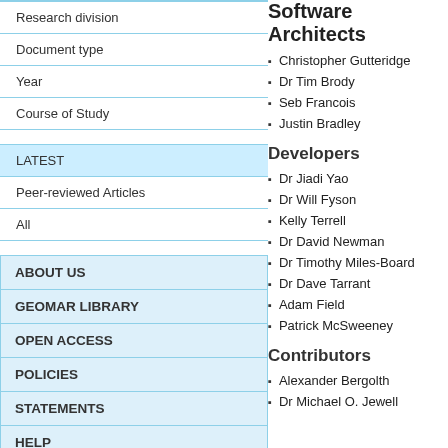Research division
Document type
Year
Course of Study
LATEST
Peer-reviewed Articles
All
ABOUT US
GEOMAR LIBRARY
OPEN ACCESS
POLICIES
STATEMENTS
HELP
FAQS
Software Architects
Christopher Gutteridge
Dr Tim Brody
Seb Francois
Justin Bradley
Developers
Dr Jiadi Yao
Dr Will Fyson
Kelly Terrell
Dr David Newman
Dr Timothy Miles-Board
Dr Dave Tarrant
Adam Field
Patrick McSweeney
Contributors
Alexander Bergolth
Dr Michael O. Jewell